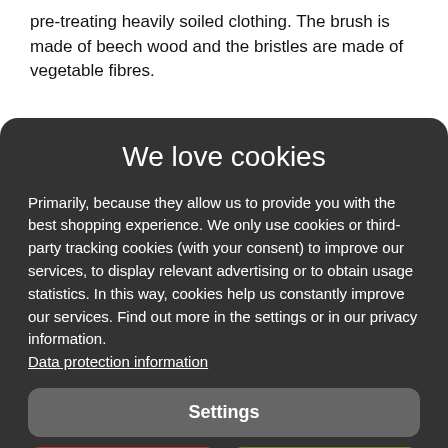pre-treating heavily soiled clothing. The brush is made of beech wood and the bristles are made of vegetable fibres.
We love cookies
Primarily, because they allow us to provide you with the best shopping experience. We only use cookies or third-party tracking cookies (with your consent) to improve our services, to display relevant advertising or to obtain usage statistics. In this way, cookies help us constantly improve our services. Find out more in the settings or in our privacy information. Data protection information